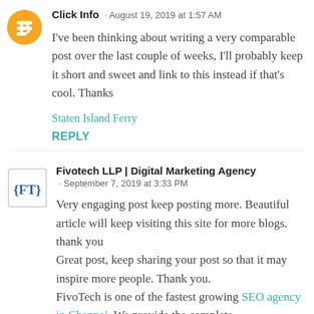Click Info · August 19, 2019 at 1:57 AM
I've been thinking about writing a very comparable post over the last couple of weeks, I'll probably keep it short and sweet and link to this instead if that's cool. Thanks
Staten Island Ferry
REPLY
Fivotech LLP | Digital Marketing Agency · September 7, 2019 at 3:33 PM
Very engaging post keep posting more. Beautiful article will keep visiting this site for more blogs. thank you Great post, keep sharing your post so that it may inspire more people. Thank you. FivoTech is one of the fastest growing SEO agency in Chennai, We provide the complete